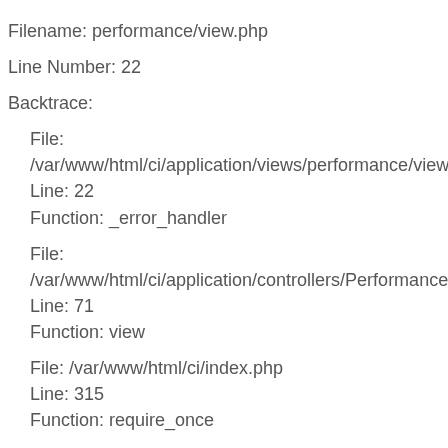Filename: performance/view.php
Line Number: 22
Backtrace:
File:
/var/www/html/ci/application/views/performance/view.php
Line: 22
Function: _error_handler
File:
/var/www/html/ci/application/controllers/Performance.php
Line: 71
Function: view
File: /var/www/html/ci/index.php
Line: 315
Function: require_once